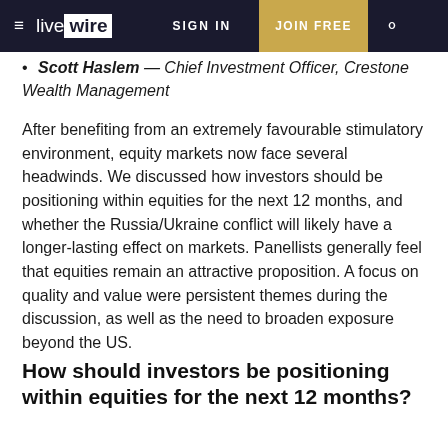live wire | SIGN IN | JOIN FREE
Scott Haslem — Chief Investment Officer, Crestone Wealth Management
After benefiting from an extremely favourable stimulatory environment, equity markets now face several headwinds. We discussed how investors should be positioning within equities for the next 12 months, and whether the Russia/Ukraine conflict will likely have a longer-lasting effect on markets. Panellists generally feel that equities remain an attractive proposition. A focus on quality and value were persistent themes during the discussion, as well as the need to broaden exposure beyond the US.
How should investors be positioning within equities for the next 12 months?